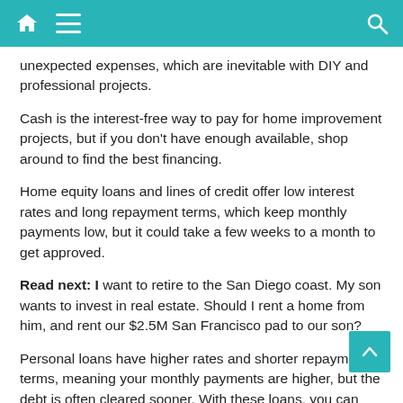[Navigation bar with home, menu, and search icons]
unexpected expenses, which are inevitable with DIY and professional projects.
Cash is the interest-free way to pay for home improvement projects, but if you don't have enough available, shop around to find the best financing.
Home equity loans and lines of credit offer low interest rates and long repayment terms, which keep monthly payments low, but it could take a few weeks to a month to get approved.
Read next: I want to retire to the San Diego coast. My son wants to invest in real estate. Should I rent a home from him, and rent our $2.5M San Francisco pad to our son?
Personal loans have higher rates and shorter repayment terms, meaning your monthly payments are higher, but the debt is often cleared sooner. With these loans, you can typically get funds in a week...